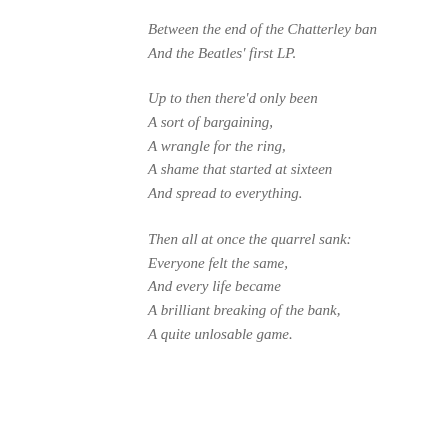Between the end of the Chatterley ban
And the Beatles' first LP.

Up to then there'd only been
A sort of bargaining,
A wrangle for the ring,
A shame that started at sixteen
And spread to everything.

Then all at once the quarrel sank:
Everyone felt the same,
And every life became
A brilliant breaking of the bank,
A quite unlosable game.